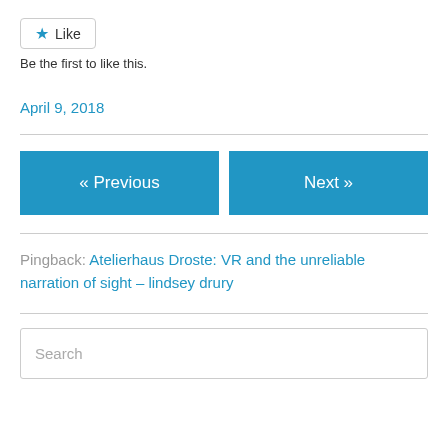[Figure (other): Like button with blue star icon and 'Like' text, rounded border]
Be the first to like this.
April 9, 2018
[Figure (other): Navigation buttons: « Previous and Next »]
Pingback: Atelierhaus Droste: VR and the unreliable narration of sight – lindsey drury
[Figure (other): Search input field with placeholder text 'Search']